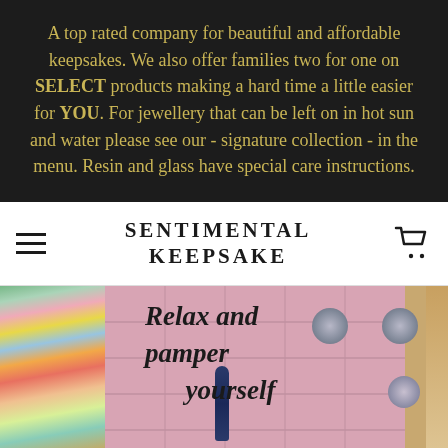A top rated company for beautiful and affordable keepsakes. We also offer families two for one on SELECT products making a hard time a little easier for YOU. For jewellery that can be left on in hot sun and water please see our - signature collection - in the menu. Resin and glass have special care instructions.
SENTIMENTAL KEEPSAKE
[Figure (photo): Photo showing bath/spa products including colorful soaps on the left, and a pink tile bathroom wall background with text 'Relax and pamper yourself' overlaid in italic script. A dark blue tube product is visible in the center.]